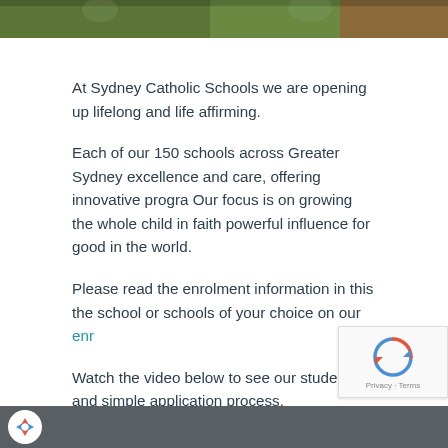[Figure (photo): Cropped photo strip showing children outdoors with greenery in background]
At Sydney Catholic Schools we are opening up lifelong and life affirming.
Each of our 150 schools across Greater Sydney excellence and care, offering innovative progra Our focus is on growing the whole child in faith powerful influence for good in the world.
Please read the enrolment information in this the school or schools of your choice on our enrolment page.
Watch the video below to see our students and simple application process.
[Figure (screenshot): Bottom dark grey bar with Sydney Catholic Schools logo circle on left]